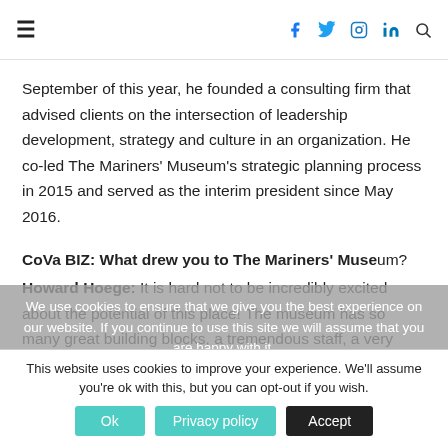≡  [navigation icons: facebook, twitter, instagram, linkedin, search]
September of this year, he founded a consulting firm that advised clients on the intersection of leadership development, strategy and culture in an organization. He co-led The Mariners' Museum's strategic planning process in 2015 and served as the interim president since May 2016.
CoVa BIZ: What drew you to The Mariners' Museum?
Howard Hoege: It is hard not to be incredibly excited about the potential of this place! The museum has so many great building blocks, a tremendous staff, a very strong board and several substantive and tangible assets:
• Congress designating The Mariners' Museum as America's national maritime museum
We use cookies to ensure that we give you the best experience on our website. If you continue to use this site we will assume that you are happy with it.
This website uses cookies to improve your experience. We'll assume you're ok with this, but you can opt-out if you wish.